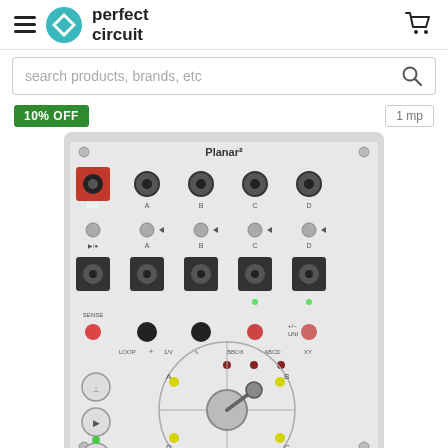[Figure (logo): Perfect Circuit logo with teal diamond shape and hamburger menu icon]
[Figure (screenshot): Search bar with placeholder text 'search products, brands, etc' and magnifying glass icon]
10% OFF
1 mp
[Figure (photo): Intellijel Planar2 Eurorack module - a synthesizer module with joystick, multiple CV inputs/outputs labeled A, B, C, D, Gate, CV1, CV2, X, Y connectors and various knobs and LEDs on a silver panel]